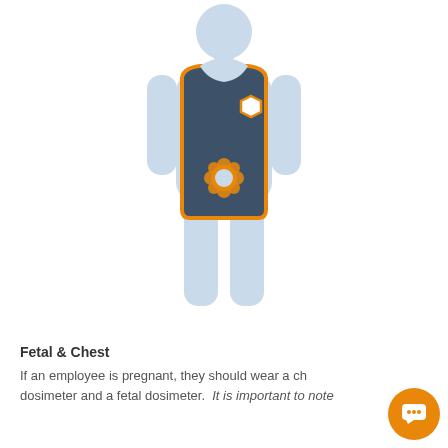[Figure (illustration): A flat icon of a person (light blue silhouette) wearing a dark blue/slate lead apron vest with an orange border outline. A white hexagonal dosimeter badge is shown at the upper chest area of the apron. A small flower-shaped orange and light blue fetal dosimeter badge is shown at the lower abdomen of the apron. The figure illustrates proper placement of chest and fetal dosimeters.]
Fetal & Chest
If an employee is pregnant, they should wear a chest dosimeter and a fetal dosimeter.  It is important to note